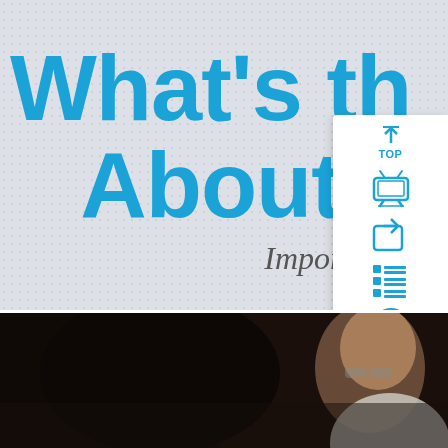What's th About t
Important Issue of t
[Figure (screenshot): Navigation panel with TOP, TV, share, list, and help icons on right side]
[Figure (photo): Dark photo of a person (partially visible) in the lower portion of the page]